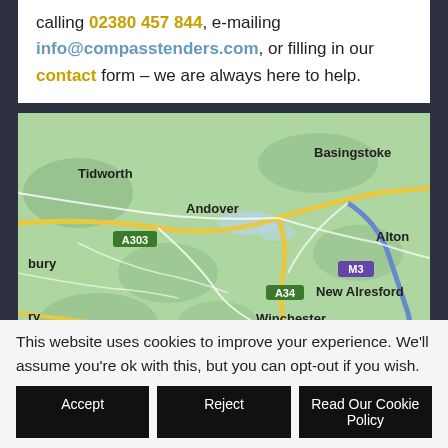calling 02380 457 844, e-mailing info@compasstenders.com, or filling in our contact form – we are always here to help.
[Figure (map): Google Maps showing the Hampshire area of England, including locations: Tidworth, Andover, Basingstoke, Alton, New Alresford, Winchester, with road labels A303, A34, A36, M3 visible.]
This website uses cookies to improve your experience. We'll assume you're ok with this, but you can opt-out if you wish.